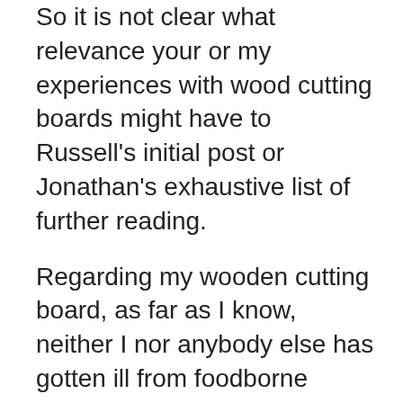So it is not clear what relevance your or my experiences with wood cutting boards might have to Russell's initial post or Jonathan's exhaustive list of further reading.
Regarding my wooden cutting board, as far as I know, neither I nor anybody else has gotten ill from foodborne disease here. I rarely go out to eat, so these 44 years have covered a very large number of meals prepared at home in 7 different homes, the last 28+years in the same home. I use the cutting board during